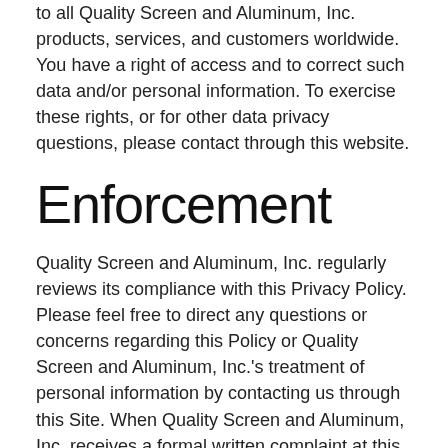to all Quality Screen and Aluminum, Inc. products, services, and customers worldwide. You have a right of access and to correct such data and/or personal information. To exercise these rights, or for other data privacy questions, please contact through this website.
Enforcement
Quality Screen and Aluminum, Inc. regularly reviews its compliance with this Privacy Policy. Please feel free to direct any questions or concerns regarding this Policy or Quality Screen and Aluminum, Inc.'s treatment of personal information by contacting us through this Site. When Quality Screen and Aluminum, Inc. receives a formal written complaint at this address, it is Quality Screen and Aluminum, Inc.'s policy to contact the complaining party regarding his or her concerns. Quality